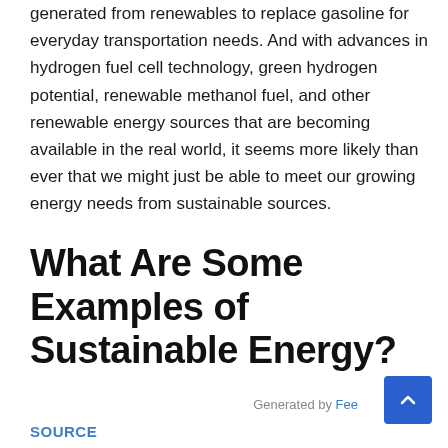generated from renewables to replace gasoline for everyday transportation needs. And with advances in hydrogen fuel cell technology, green hydrogen potential, renewable methanol fuel, and other renewable energy sources that are becoming available in the real world, it seems more likely than ever that we might just be able to meet our growing energy needs from sustainable sources.
What Are Some Examples of Sustainable Energy?
Generated by Fee
SOURCE